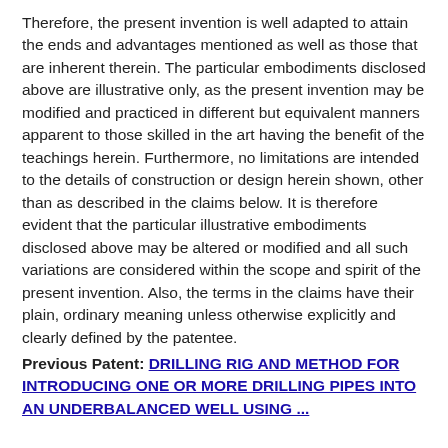Therefore, the present invention is well adapted to attain the ends and advantages mentioned as well as those that are inherent therein. The particular embodiments disclosed above are illustrative only, as the present invention may be modified and practiced in different but equivalent manners apparent to those skilled in the art having the benefit of the teachings herein. Furthermore, no limitations are intended to the details of construction or design herein shown, other than as described in the claims below. It is therefore evident that the particular illustrative embodiments disclosed above may be altered or modified and all such variations are considered within the scope and spirit of the present invention. Also, the terms in the claims have their plain, ordinary meaning unless otherwise explicitly and clearly defined by the patentee.
Previous Patent: DRILLING RIG AND METHOD FOR INTRODUCING ONE OR MORE DRILLING PIPES INTO AN UNDERBALANCED WELL USING ...